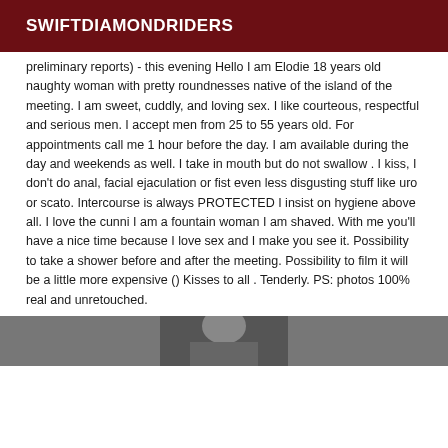SWIFTDIAMONDRIDERS
preliminary reports) - this evening Hello I am Elodie 18 years old naughty woman with pretty roundnesses native of the island of the meeting. I am sweet, cuddly, and loving sex. I like courteous, respectful and serious men. I accept men from 25 to 55 years old. For appointments call me 1 hour before the day. I am available during the day and weekends as well. I take in mouth but do not swallow . I kiss, I don't do anal, facial ejaculation or fist even less disgusting stuff like uro or scato. Intercourse is always PROTECTED I insist on hygiene above all. I love the cunni I am a fountain woman I am shaved. With me you'll have a nice time because I love sex and I make you see it. Possibility to take a shower before and after the meeting. Possibility to film it will be a little more expensive () Kisses to all . Tenderly. PS: photos 100% real and unretouched.
[Figure (photo): Grayscale photo partially visible at the bottom of the page, showing a person.]